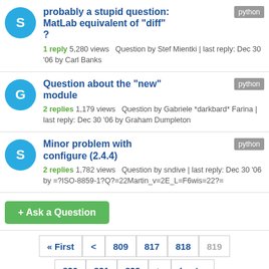probably a stupid question: MatLab equivalent of "diff"?
1 reply 5,280 views  Question by Stef Mientki | last reply: Dec 30 '06 by Carl Banks
Question about the "new" module
2 replies 1,179 views  Question by Gabriele *darkbard* Farina | last reply: Dec 30 '06 by Graham Dumpleton
Minor problem with configure (2.4.4)
2 replies 1,782 views  Question by sndive | last reply: Dec 30 '06 by =?ISO-8859-1?Q?=22Martin_v=2E_L=F6wis=22?=
+ Ask a Question
« First  <  809  817  818  819
820  821  829  >  Last »